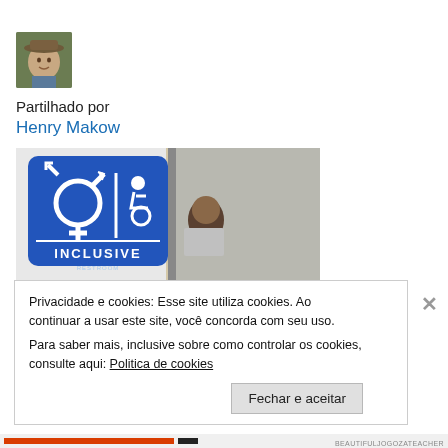[Figure (photo): Small square avatar photo of a man wearing a hat outdoors with green foliage background]
Partilhado por
Henry Makow
[Figure (photo): Photograph of a blue ADA-compliant inclusive restroom sign showing gender symbols and wheelchair accessibility icon with the word INCLUSIVE, mounted on a wall next to a door]
Privacidade e cookies: Esse site utiliza cookies. Ao continuar a usar este site, você concorda com seu uso.
Para saber mais, inclusive sobre como controlar os cookies, consulte aqui: Politica de cookies
Fechar e aceitar